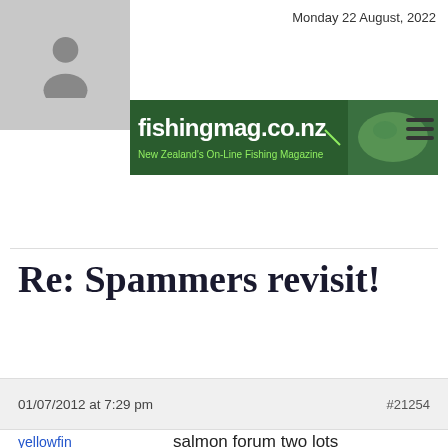Monday 22 August, 2022
[Figure (logo): fishingmag.co.nz website logo banner — green background with white bold text 'fishingmag.co.nz', subtitle 'New Zealand's On-Line Fishing Magazine' in yellow-green, with fish image on right]
Re: Spammers revisit!
01/07/2012 at 7:29 pm  #21254
yellowfin
Participant
salmon forum two lots